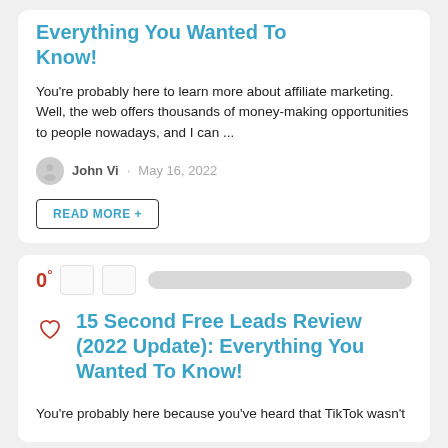Everything You Wanted To Know!
You're probably here to learn more about affiliate marketing. Well, the web offers thousands of money-making opportunities to people nowadays, and I can ...
John Vi · May 16, 2022
READ MORE +
0°
15 Second Free Leads Review (2022 Update): Everything You Wanted To Know!
You're probably here because you've heard that TikTok wasn't